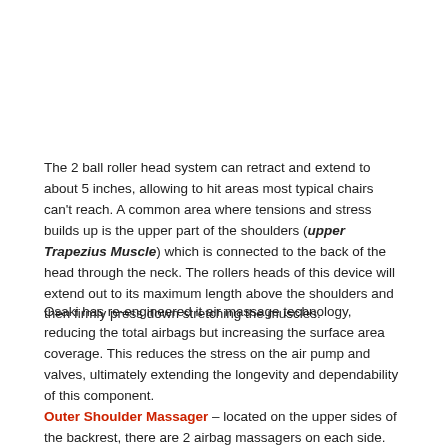The 2 ball roller head system can retract and extend to about 5 inches, allowing to hit areas most typical chairs can't reach. A common area where tensions and stress builds up is the upper part of the shoulders (upper Trapezius Muscle) which is connected to the back of the head through the neck. The rollers heads of this device will extend out to its maximum length above the shoulders and then firmly press down stretching the muscles.
Osaki has re-engineered it air massage technology, reducing the total airbags but increasing the surface area coverage. This reduces the stress on the air pump and valves, ultimately extending the longevity and dependability of this component. Outer Shoulder Massager – located on the upper sides of the backrest, there are 2 airbag massagers on each side. As the air bags inflate it will compress the shoulder inwards. The shoulder airbags may also inflate to